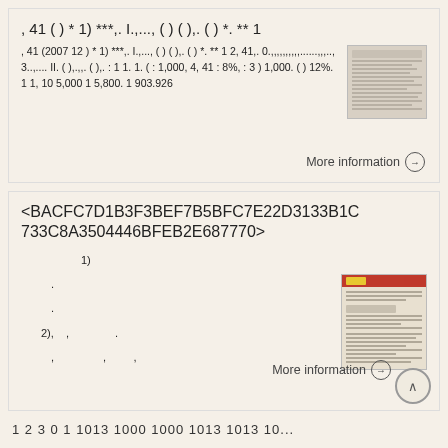, 41 ( ) * 1) ***,. I.,..., ( ) ( ),. ( ) *. ** 1
, 41 (2007 12 ) * 1) ***,. I.,..., ( ) ( ),. ( ) *. ** 1 2, 41,. 0.,,,,,,,,,,......,,,.., 3..,.... II. ( ),.,,. ( ),. : 1 1. 1. ( : 1,000, 4, 41 : 8%, : 3 ) 1,000. ( ) 12%. 1 1, 10 5,000 1 5,800. 1 903.926
More information →
<BACFC7D1B3F3BEF7B5BFC7E22D3133B1C733C8A3504446BFEB2E687770>
1)
.
.
2), , .
, , ,
More information →
1 2 3 0 1 1013 1000 1000 1013 1013 10...